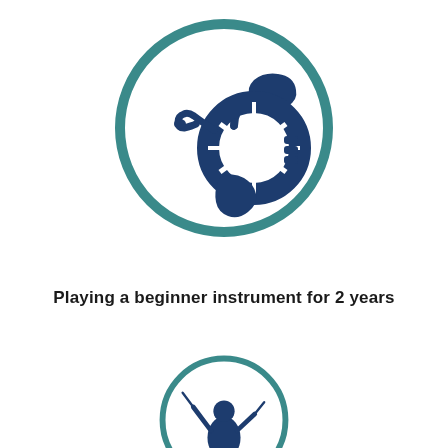[Figure (illustration): A dark blue French horn icon inside a teal circular ring outline]
Playing a beginner instrument for 2 years
[Figure (illustration): A dark blue conductor with batons icon inside a teal circular ring outline, partially cut off at bottom of page]